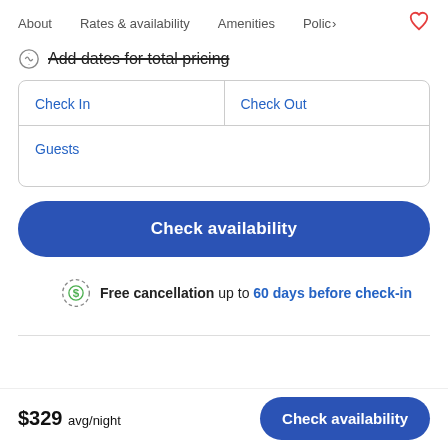About   Rates & availability   Amenities   Policy
Add dates for total pricing
| Check In | Check Out |
| --- | --- |
|  |  |
| Guests |  |
Check availability
Free cancellation up to 60 days before check-in
$329 avg/night   Check availability